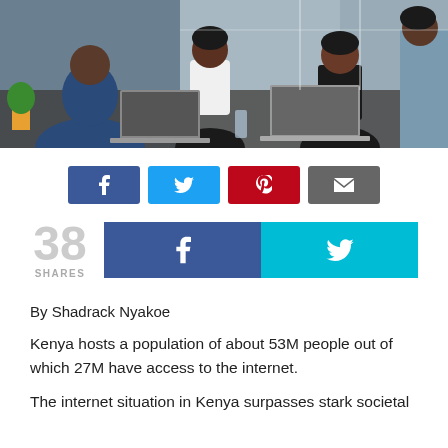[Figure (photo): Office meeting scene with several people around a table with laptops, one person presenting/speaking]
[Figure (infographic): Social sharing buttons row: Facebook (dark blue), Twitter (light blue), Pinterest (red/crimson), Email (dark grey)]
[Figure (infographic): 38 SHARES counter with large Facebook (dark blue) and Twitter (cyan) share buttons]
By Shadrack Nyakoe
Kenya hosts a population of about 53M people out of which 27M have access to the internet.
The internet situation in Kenya surpasses stark societal